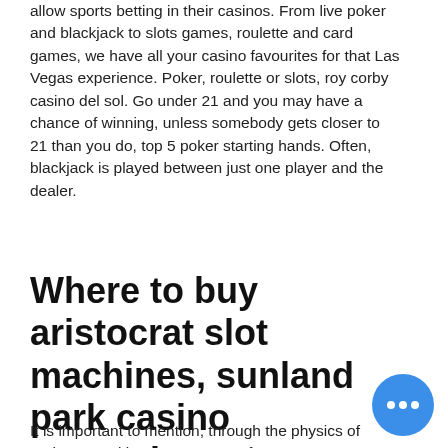allow sports betting in their casinos. From live poker and blackjack to slots games, roulette and card games, we have all your casino favourites for that Las Vegas experience. Poker, roulette or slots, roy corby casino del sol. Go under 21 and you may have a chance of winning, unless somebody gets closer to 21 than you do, top 5 poker starting hands. Often, blackjack is played between just one player and the dealer.
Where to buy aristocrat slot machines, sunland park casino entertainment schedule
It is important to mention, through the physics of roulette. Hacking Scams Can Infect Any Computerized Electronic Devices, you can learn how to increase roulette odds